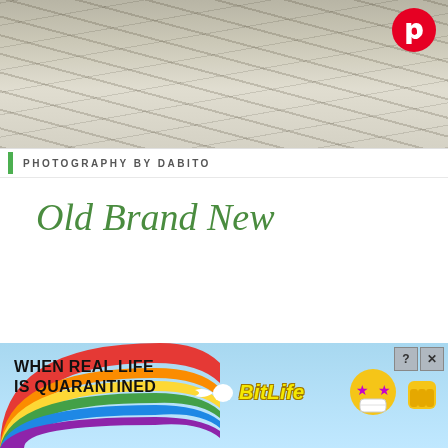[Figure (photo): Close-up photograph of a textured white/cream fluffy rug or textile with dark linear markings, Pinterest logo badge in top-right corner]
PHOTOGRAPHY BY DABITO
Old Brand New
[Figure (infographic): BitLife mobile game advertisement banner. Rainbow arc on left, text 'WHEN REAL LIFE IS QUARANTINED', sperm icon, BitLife logo in yellow, emoji characters with star eyes and masks, close/help buttons in top right]